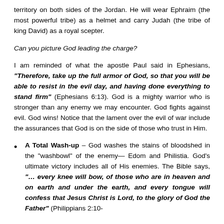territory on both sides of the Jordan. He will wear Ephraim (the most powerful tribe) as a helmet and carry Judah (the tribe of king David) as a royal scepter.
Can you picture God leading the charge?
I am reminded of what the apostle Paul said in Ephesians, "Therefore, take up the full armor of God, so that you will be able to resist in the evil day, and having done everything to stand firm" (Ephesians 6:13). God is a mighty warrior who is stronger than any enemy we may encounter. God fights against evil. God wins! Notice that the lament over the evil of war include the assurances that God is on the side of those who trust in Him.
A Total Wash-up – God washes the stains of bloodshed in the "washbowl" of the enemy— Edom and Philistia. God's ultimate victory includes all of His enemies. The Bible says, "... every knee will bow, of those who are in heaven and on earth and under the earth, and every tongue will confess that Jesus Christ is Lord, to the glory of God the Father" (Philippians 2:10-